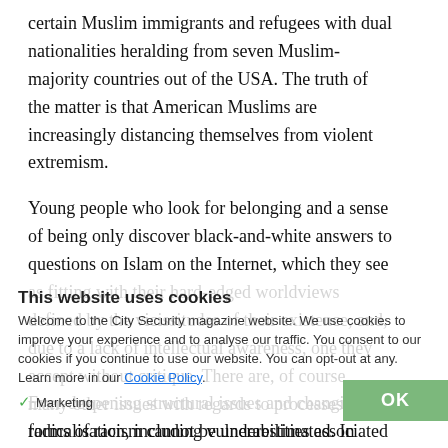certain Muslim immigrants and refugees with dual nationalities heralding from seven Muslim-majority countries out of the USA. The truth of the matter is that American Muslims are increasingly distancing themselves from violent extremism.
Young people who look for belonging and a sense of being only discover black-and-white answers to questions on Islam on the Internet, which they see as fitting with their hard-edged worldviews defined by the vicissitudes of their existence, and, due to a lack of intellectual awareness, one they accept without critique. There are, of course, many other issues with regards to processes of radicalisation, including vulnerabilities associated with mental illness, coercion, or even conversion into a radical political and theological outlook by those who would seek to take advantage of marginalised people.
This website uses cookies
Welcome to the City Security magazine website. We use cookies to improve your experience and to analyse our traffic. You consent to our cookies if you continue to use our website. You can opt-out at any. Learn more in our Cookie Policy.
Ever-deepening structural issues and changing forms of racism cannot be underestimated. In particular, the role of whiteness – and the idea of loss of white privilege perceived, presumed